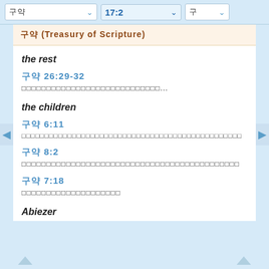구약 | 17:2 | 구
구약 (Treasury of Scripture)
the rest
구약 26:29-32
[Korean text]...
the children
구약 6:11
[Korean text]
구약 8:2
[Korean text]
구약 7:18
[Korean text]
Abiezer